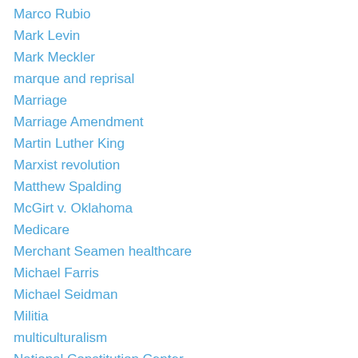Marco Rubio
Mark Levin
Mark Meckler
marque and reprisal
Marriage
Marriage Amendment
Martin Luther King
Marxist revolution
Matthew Spalding
McGirt v. Oklahoma
Medicare
Merchant Seamen healthcare
Michael Farris
Michael Seidman
Militia
multiculturalism
National Constitution Center
National Popular Vote
national sales tax
national value added tax